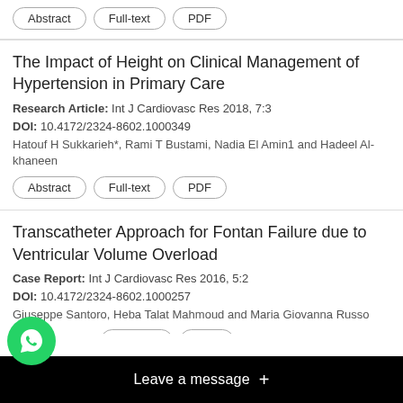Abstract | Full-text | PDF
The Impact of Height on Clinical Management of Hypertension in Primary Care
Research Article: Int J Cardiovasc Res 2018, 7:3
DOI: 10.4172/2324-8602.1000349
Hatouf H Sukkarieh*, Rami T Bustami, Nadia El Amin1 and Hadeel Al-khaneen
Abstract | Full-text | PDF
Transcatheter Approach for Fontan Failure due to Ventricular Volume Overload
Case Report: Int J Cardiovasc Res 2016, 5:2
DOI: 10.4172/2324-8602.1000257
Giuseppe Santoro, Heba Talat Mahmoud and Maria Giovanna Russo
Abstract | Full-text | PDF
Patt...